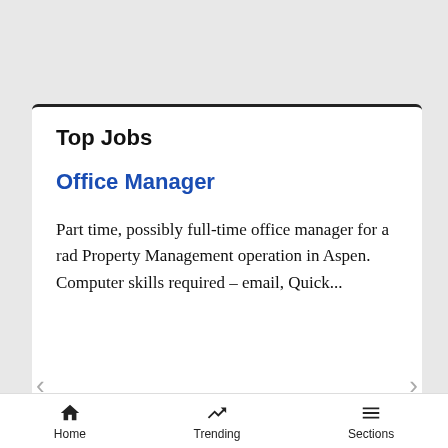Top Jobs
Office Manager
Part time, possibly full-time office manager for a rad Property Management operation in Aspen. Computer skills required – email, Quick...
[Figure (screenshot): Victoria's Secret advertisement banner with model photo, VS logo, 'SHOP THE COLLECTION' text and 'SHOP NOW' button]
Home   Trending   Sections